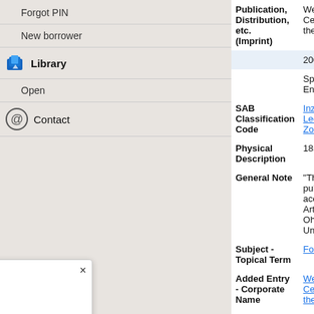Forgot PIN
New borrower
Library
Open
Contact
| Field | Value |
| --- | --- |
| Publication, Distribution, etc. (Imprint) | Wexner Center for the A... |
|  | 2007 |
|  | Språk: Engelska. |
| SAB Classification Code | Inz Leonard, Zoe |
| Physical Description | 185 s. : ill. |
| General Note | "This publication accom... Arts, The Ohio State Un... |
| Subject - Topical Term | Fotografer |
| Added Entry - Corporate Name | Wexner Center for the A... |
| ISBN | 978-0-262-12295-5 |
| Waiting | 0 (0) |
[Figure (illustration): Red book cover shown in a modal popup dialog with a close (×) button in the top right corner.]